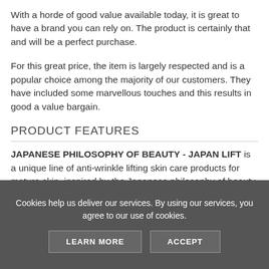With a horde of good value available today, it is great to have a brand you can rely on. The product is certainly that and will be a perfect purchase.
For this great price, the item is largely respected and is a popular choice among the majority of our customers. They have included some marvellous touches and this results in good a value bargain.
PRODUCT FEATURES
JAPANESE PHILOSOPHY OF BEAUTY - JAPAN LIFT is a unique line of anti-wrinkle lifting skin care products for mature skin, inspired by the Japanese philosophy of beauty, in which the care ritual is mixed with pleasure, and
Cookies help us deliver our services. By using our services, you agree to our use of cookies.